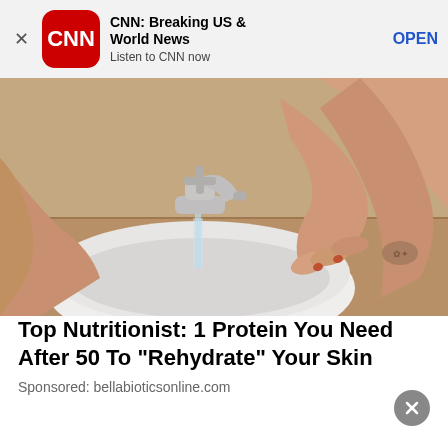[Figure (screenshot): App store banner ad for CNN: Breaking US & World News with CNN logo (red rounded square with CNN text in white), close X button on left, app name and description, and OPEN button in blue]
[Figure (photo): Person washing face at a white bowl sink with a chrome cross-handle faucet running water, person leaning over the sink with hands on face, visible tattoo on arm]
Top Nutritionist: 1 Protein You Need After 50 To "Rehydrate" Your Skin
Sponsored: bellabioticsonline.com